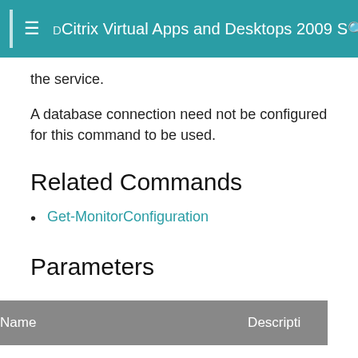Citrix Virtual Apps and Desktops 2009 SDK D
the service.
A database connection need not be configured for this command to be used.
Related Commands
Get-MonitorConfiguration
Parameters
| Name | Description |
| --- | --- |
| GroomSessionsRetentionDays | Determin |